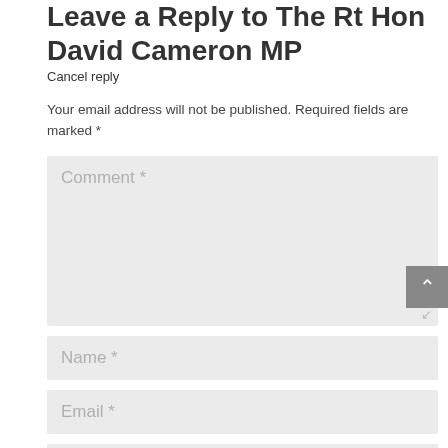Leave a Reply to The Rt Hon David Cameron MP
Cancel reply
Your email address will not be published. Required fields are marked *
[Figure (screenshot): Comment text area form field with placeholder text 'Comment *' and resize handle]
[Figure (screenshot): Name input field with placeholder text 'Name *']
[Figure (screenshot): Email input field with placeholder text 'Email *']
[Figure (screenshot): Website/URL input field (partially visible at bottom)]